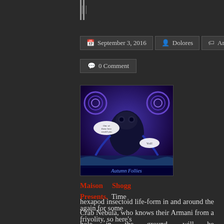||
September 3, 2016 | Dolores | Artwork
0 Comment
[Figure (illustration): Comic book style illustration of alien creature with purple/blue swirling patterns, captioned 'Autumn Follies']
Maison Shogg Presents. Time again for some frivolity, so here's the latest alien fashion news.Â Â Â Â This autumn every discerning hexapod insectoid life-form in and around the Crab Nebula, who knows their Armani from a hole in the ground, will be wearing this fetching exoskeleton designed by those fashion demons, Rosie and BoomBoom of Maison Shogg. Made of clarified titanium (*) with a coating of sentient dilithium microgel,